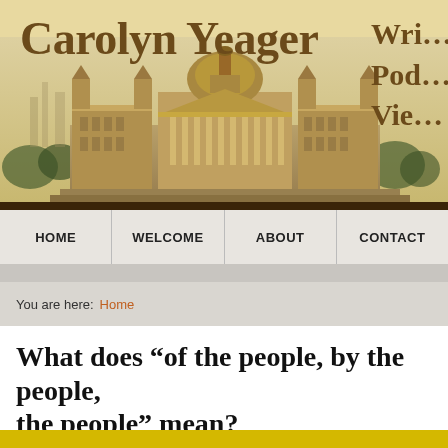[Figure (illustration): Website header banner with sepia-toned illustration of a grand European government building (Reichstag) with trees and city skyline in background, on a warm beige/cream background]
Carolyn Yeager
Wri... Pod... Vie...
HOME | WELCOME | ABOUT | CONTACT
You are here: Home
What does “of the people, by the people, the people” mean?
Published by carolyn on Tue, 2021-01-12 00:24